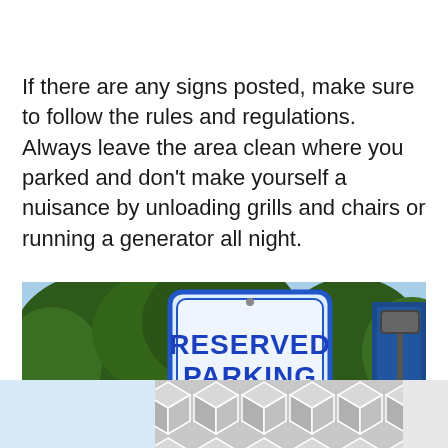If there are any signs posted, make sure to follow the rules and regulations. Always leave the area clean where you parked and don't make yourself a nuisance by unloading grills and chairs or running a generator all night.
[Figure (photo): Outdoor photo of a blue and white 'RESERVED PARKING / SENIOR' sign with trees and a parking lot light pole visible in the background against a blue sky.]
[Figure (illustration): Decorative geometric hexagon/cube pattern strip in grey and white tones at the bottom of the page.]